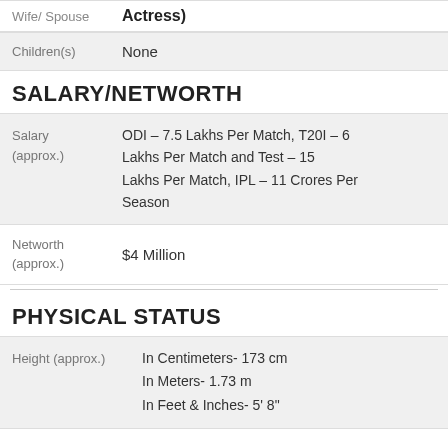|  |  |
| --- | --- |
| Wife/ Spouse | Actress) |
| Children(s) | None |
SALARY/NETWORTH
|  |  |
| --- | --- |
| Salary (approx.) | ODI – 7.5 Lakhs Per Match, T20I – 6 Lakhs Per Match and Test – 15 Lakhs Per Match, IPL – 11 Crores Per Season |
| Networth (approx.) | $4 Million |
PHYSICAL STATUS
|  |  |
| --- | --- |
| Height (approx.) | In Centimeters- 173 cm
In Meters- 1.73 m
In Feet & Inches- 5' 8" |